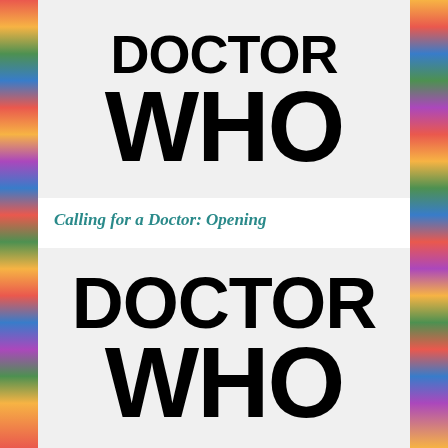[Figure (logo): Doctor Who logo — top version with smaller DOCTOR text above large WHO text, black on light gray background]
Calling for a Doctor: Opening
[Figure (logo): Doctor Who logo — bottom version with large DOCTOR text above large WHO text, black on light gray background]